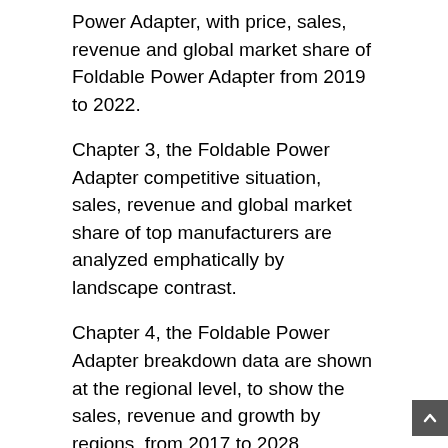Power Adapter, with price, sales, revenue and global market share of Foldable Power Adapter from 2019 to 2022.
Chapter 3, the Foldable Power Adapter competitive situation, sales, revenue and global market share of top manufacturers are analyzed emphatically by landscape contrast.
Chapter 4, the Foldable Power Adapter breakdown data are shown at the regional level, to show the sales, revenue and growth by regions, from 2017 to 2028.
Chapter 5 and 6, to segment the sales by Type and application, with sales market share and growth rate by type, application, from 2017 to 2028.
Chapter 7, 8, 9, 10 and 11, to break the sales data at the country level, with sales, revenue and market share for key countries in the world, from 2017 to 2022.and